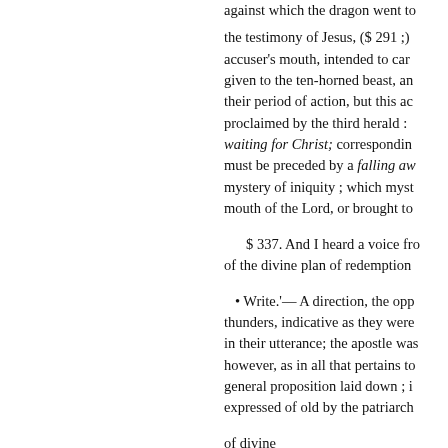against which the dragon went to the testimony of Jesus, ($ 291 ;) accuser's mouth, intended to carry given to the ten-horned beast, and their period of action, but this ac proclaimed by the third herald : waiting for Christ; corresponding must be preceded by a falling away mystery of iniquity ; which myst mouth of the Lord, or brought to
$ 337. And I heard a voice fro of the divine plan of redemption
• Write.'— A direction, the opp thunders, indicative as they were in their utterance; the apostle was however, as in all that pertains to general proposition laid down ; i expressed of old by the patriarch of divine
mercy, and as if offering a reason were printed in a book! That they